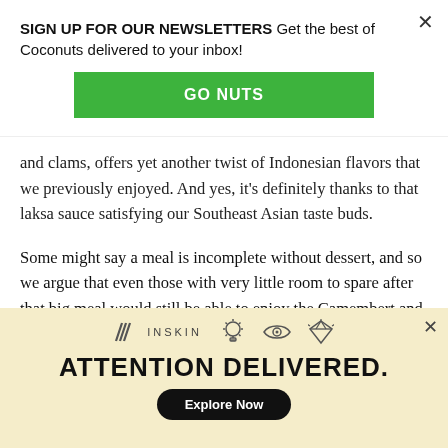SIGN UP FOR OUR NEWSLETTERS Get the best of Coconuts delivered to your inbox!
GO NUTS
and clams, offers yet another twist of Indonesian flavors that we previously enjoyed. And yes, it’s definitely thanks to that laksa sauce satisfying our Southeast Asian taste buds.
Some might say a meal is incomplete without dessert, and so we argue that even those with very little room to spare after that big meal would still be able to enjoy the Camembert and Passion Fruit (IDR 80K/US$5.72).
[Figure (infographic): INSKIN ad banner with logo, icons (lightbulb, eye, diamond), headline ATTENTION DELIVERED., and Explore Now button on cream/yellow background]